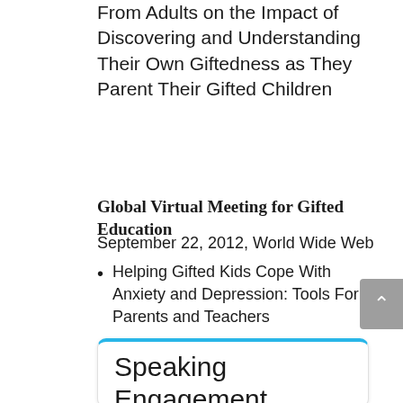From Adults on the Impact of Discovering and Understanding Their Own Giftedness as They Parent Their Gifted Children
Global Virtual Meeting for Gifted Education
September 22, 2012, World Wide Web
Helping Gifted Kids Cope With Anxiety and Depression: Tools For Parents and Teachers
Speaking Engagement